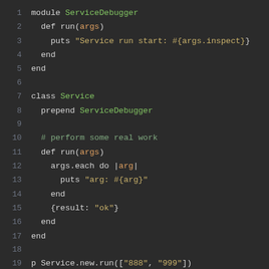[Figure (screenshot): Ruby code editor screenshot showing a ServiceDebugger module prepended to a Service class, with line numbers 1-19. Dark background with syntax highlighting.]